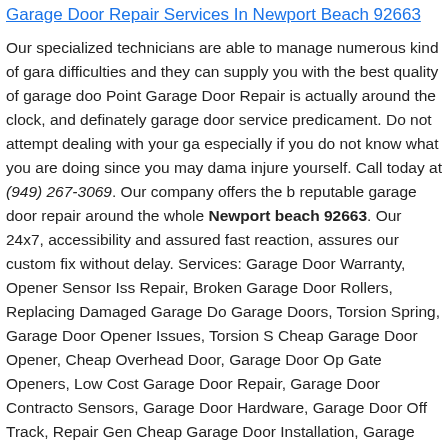Garage Door Repair Services In Newport Beach 92663
Our specialized technicians are able to manage numerous kind of garage difficulties and they can supply you with the best quality of garage door. Point Garage Door Repair is actually around the clock, and definately garage door service predicament. Do not attempt dealing with your garage especially if you do not know what you are doing since you may damage injure yourself. Call today at (949) 267-3069. Our company offers the best reputable garage door repair around the whole Newport beach 92663. Our 24x7, accessibility and assured fast reaction, assures our customers fix without delay. Services: Garage Door Warranty, Opener Sensor Issues Repair, Broken Garage Door Rollers, Replacing Damaged Garage Doors, Garage Doors, Torsion Spring, Garage Door Opener Issues, Torsion Spring, Cheap Garage Door Opener, Cheap Overhead Door, Garage Door Openers, Gate Openers, Low Cost Garage Door Repair, Garage Door Contractors, Sensors, Garage Door Hardware, Garage Door Off Track, Repair General, Cheap Garage Door Installation, Garage Door Panel Repairs, Garage Doors, Garage Door Opener Installation, Garage Door Springs, Garage, Affordable Overhead Door, Overhead Doors, Garage Door Lock Hardware